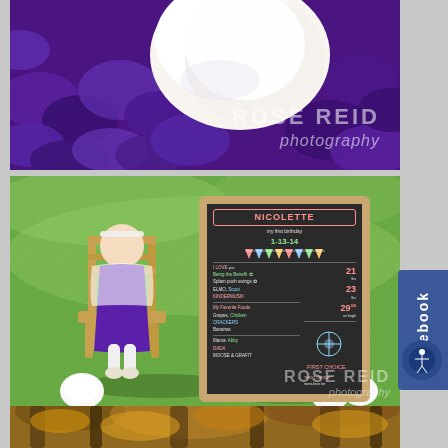[Figure (photo): Close-up photo of a baby in a purple ruffled outfit with a white fluffy accessory, with 'ROSE REID photography' watermark overlay]
[Figure (photo): Baby girl in purple dress with white fur shrug sitting in a small wooden rocking chair on green grass, next to a chalkboard sign reading 'NICOLETTE my first birthday 1-13-14' with milestone statistics]
[Figure (photo): Bottom strip photo showing trees with golden/autumn foliage]